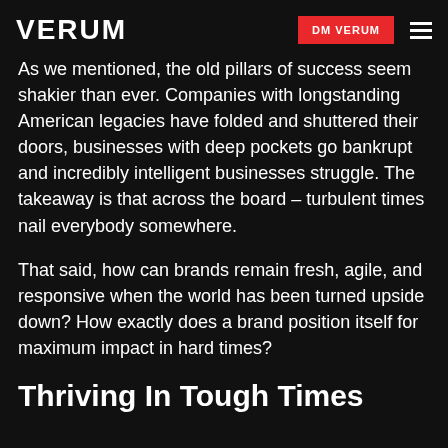VERUM | DM VERUM
As we mentioned, the old pillars of success seem shakier than ever. Companies with longstanding American legacies have folded and shuttered their doors, businesses with deep pockets go bankrupt and incredibly intelligent businesses struggle. The takeaway is that across the board – turbulent times nail everybody somewhere.
That said, how can brands remain fresh, agile, and responsive when the world has been turned upside down? How exactly does a brand position itself for maximum impact in hard times?
Thriving In Tough Times